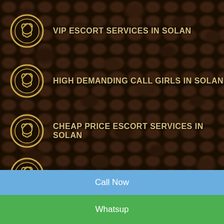VIP ESCORT SERVICES IN SOLAN
HIGH DEMANDING CALL GIRLS IN SOLAN
CHEAP PRICE ESCORT SERVICES IN SOLAN
SOLAN CALL GIRLS PHONE NUMBER
WHATSAPP NUMBER CALL GIRLS
WHATSAPP NUMBER GIRLS
Call Now
Whatsup